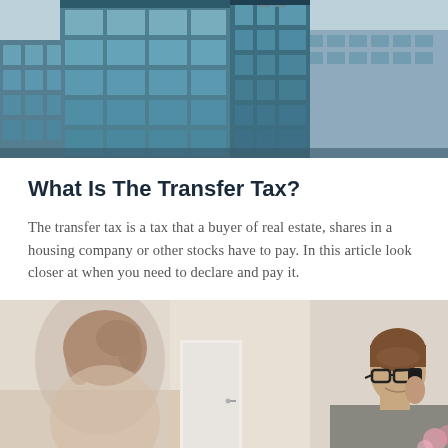[Figure (photo): Modern glass office building exterior with blue glass facade and light sky background]
What Is The Transfer Tax?
The transfer tax is a tax that a buyer of real estate, shares in a housing company or other stocks have to pay. In this article look closer at when you need to declare and pay it.
[Figure (photo): Office scene with a woman in foreground (back of head visible) and a man wearing glasses smiling and talking on a phone in background]